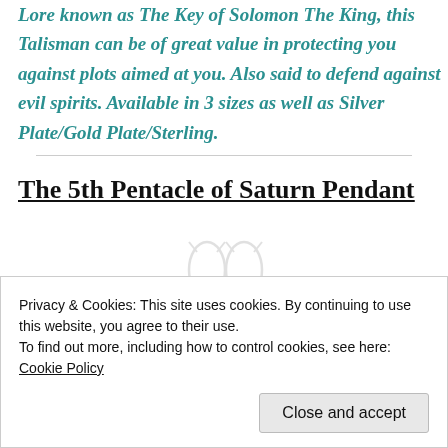Lore known as The Key of Solomon The King, this Talisman can be of great value in protecting you against plots aimed at you. Also said to defend against evil spirits. Available in 3 sizes as well as Silver Plate/Gold Plate/Sterling.
The 5th Pentacle of Saturn Pendant
Privacy & Cookies: This site uses cookies. By continuing to use this website, you agree to their use.
To find out more, including how to control cookies, see here: Cookie Policy